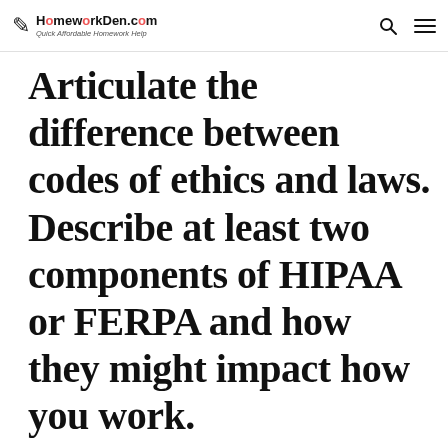HomeworkDen.com | Quick Affordable Homework Help
Articulate the difference between codes of ethics and laws. Describe at least two components of HIPAA or FERPA and how they might impact how you work.